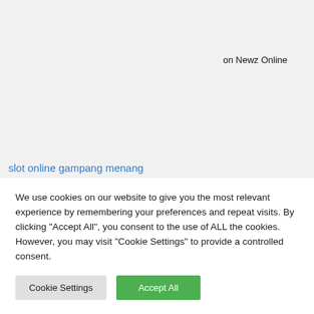on Newz Online
slot online gampang menang
We use cookies on our website to give you the most relevant experience by remembering your preferences and repeat visits. By clicking "Accept All", you consent to the use of ALL the cookies. However, you may visit "Cookie Settings" to provide a controlled consent.
Cookie Settings
Accept All